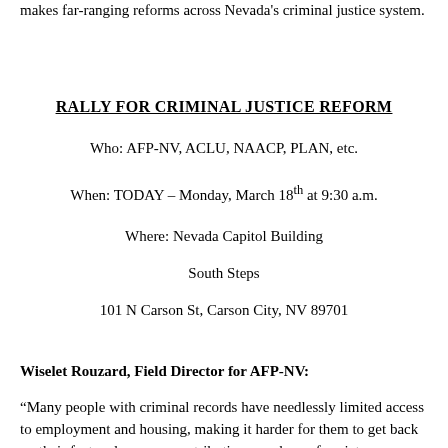makes far-ranging reforms across Nevada's criminal justice system.
RALLY FOR CRIMINAL JUSTICE REFORM
Who: AFP-NV, ACLU, NAACP, PLAN, etc.
When: TODAY – Monday, March 18th at 9:30 a.m.
Where: Nevada Capitol Building
South Steps
101 N Carson St, Carson City, NV 89701
Wiselet Rouzard, Field Director for AFP-NV:
“Many people with criminal records have needlessly limited access to employment and housing, making it harder for them to get back on their feet and grow as contributing members of society. Important reforms this session such as AB 236 would help